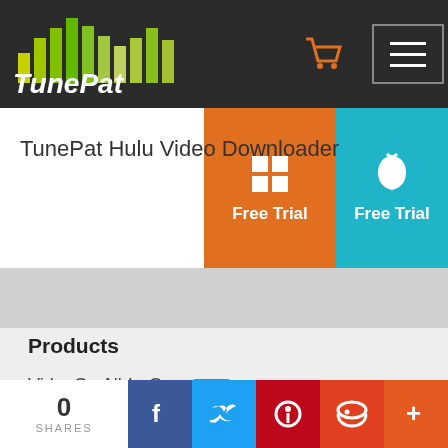[Figure (logo): TunePat logo with green audio bars and white text on dark background]
[Figure (other): Shopping cart icon in orange]
[Figure (other): Hamburger menu icon]
[Figure (other): Windows Free Trial button (orange) and Mac Free Trial button (teal)]
TunePat Hulu Video Downloader
Products
VideoGo All-In-One NEW
Netflix Video Downloader
Amazon Video Downloader
DisneyPlus Video Downloader
Hulu Video Downloader
HBOMax Video Downloader
ParamountPlus Downloader
0 SHARES